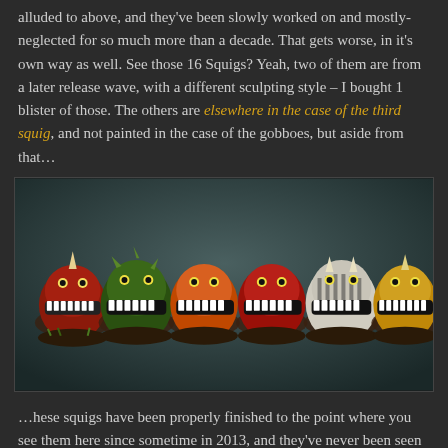alluded to above, and they've been slowly worked on and mostly-neglected for so much more than a decade. That gets worse, in it's own way as well. See those 16 Squigs? Yeah, two of them are from a later release wave, with a different sculpting style – I bought 1 blister of those. The others are elsewhere in the case of the third squig, and not painted in the case of the gobboes, but aside from that…
[Figure (photo): Six painted miniature squig creatures on dark bases, arranged in a row. Colors include red, green, orange, red, striped, and yellow. They have large teeth and small limbs.]
…hese squigs have been properly finished to the point where you see them here since sometime in 2013, and they've never been seen on the blog until right now. You see, back in those days, I really didn't show a model off until the unit it belonged to was completely finished. I'd basically never ever show single models if I